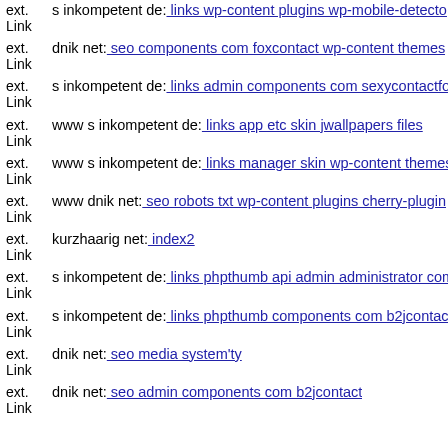ext. Link s inkompetent de: links wp-content plugins wp-mobile-detector
ext. Link dnik net: seo components com foxcontact wp-content themes
ext. Link s inkompetent de: links admin components com sexycontactform
ext. Link www s inkompetent de: links app etc skin jwallpapers files
ext. Link www s inkompetent de: links manager skin wp-content themes
ext. Link www dnik net: seo robots txt wp-content plugins cherry-plugin
ext. Link kurzhaarig net: index2
ext. Link s inkompetent de: links phpthumb api admin administrator com
ext. Link s inkompetent de: links phpthumb components com b2jcontact
ext. Link dnik net: seo media system'ty
ext. Link dnik net: seo admin components com b2jcontact